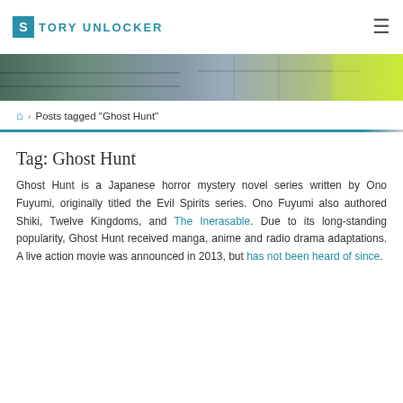STORY UNLOCKER
[Figure (photo): Hero banner image strip showing a store or shop interior with products on shelves and a yellow-green curtain on the right side]
Posts tagged "Ghost Hunt"
Tag: Ghost Hunt
Ghost Hunt is a Japanese horror mystery novel series written by Ono Fuyumi, originally titled the Evil Spirits series. Ono Fuyumi also authored Shiki, Twelve Kingdoms, and The Inerasable. Due to its long-standing popularity, Ghost Hunt received manga, anime and radio drama adaptations. A live action movie was announced in 2013, but has not been heard of since.